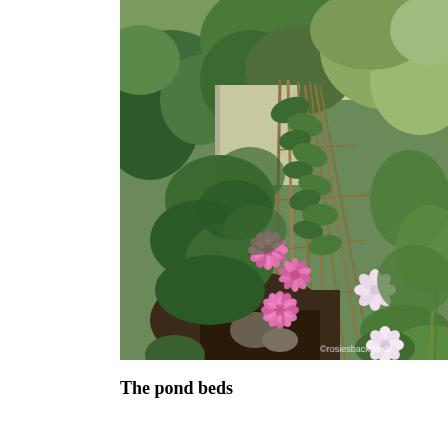[Figure (photo): Garden photograph showing a lush backyard garden path with pink dahlia flowers in bloom growing on tall bamboo cane supports/teepee trellis, surrounded by dense green foliage, shrubs, and trees. White flowers visible on the right side of the trellis. Watermark reads 'rosiesbackgarden' in bottom right corner.]
The pond beds